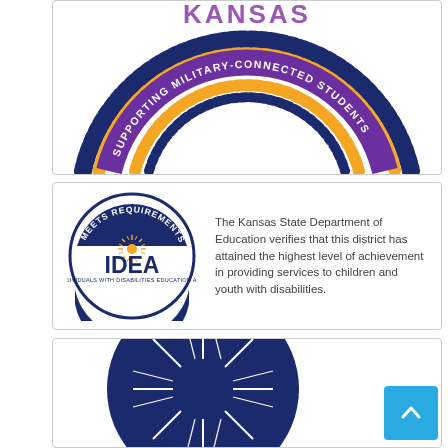[Figure (logo): Kansas Supporting Military-Connected Students rope badge arc, top half visible, with blue and gold rope border and purple arc with white text]
[Figure (logo): IDEA Meets Requirements 2022 circular badge with star burst, alongside text from Kansas State Department of Education]
The Kansas State Department of Education verifies that this district has attained the highest level of achievement in providing services to children and youth with disabilities.
[Figure (logo): Dark navy blue circular badge with star burst / compass rose design, partially visible at bottom of page]
[Figure (other): Scroll to top button, blue square with white chevron arrow pointing up]